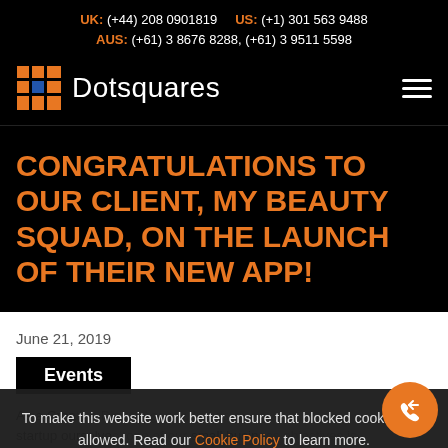UK: (+44) 208 0901819   US: (+1) 301 563 9488   AUS: (+61) 3 8676 8288, (+61) 3 9511 5598
[Figure (logo): Dotsquares logo with orange grid icon and white text on black background, hamburger menu icon on right]
CONGRATULATIONS TO OUR CLIENT, MY BEAUTY SQUAD, ON THE LAUNCH OF THEIR NEW APP!
June 21, 2019
Events
As a Creative Digital Agency, but as a startup ourselves, one of our small business objectives is helping budding entrepreneurs in th... making their weig...
To make this website work better ensure that blocked cookies are allowed. Read our Cookie Policy to learn more.